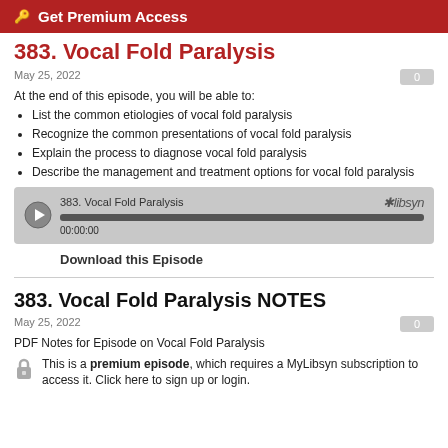Get Premium Access
383. Vocal Fold Paralysis
May 25, 2022
At the end of this episode, you will be able to:
List the common etiologies of vocal fold paralysis
Recognize the common presentations of vocal fold paralysis
Explain the process to diagnose vocal fold paralysis
Describe the management and treatment options for vocal fold paralysis
[Figure (other): Audio player widget showing '383. Vocal Fold Paralysis', progress bar, timestamp 00:00:00, and Libsyn logo]
Download this Episode
383. Vocal Fold Paralysis NOTES
May 25, 2022
PDF Notes for Episode on Vocal Fold Paralysis
This is a premium episode, which requires a MyLibsyn subscription to access it. Click here to sign up or login.